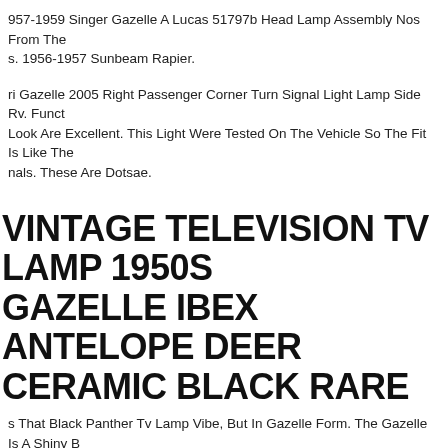957-1959 Singer Gazelle A Lucas 51797b Head Lamp Assembly Nos From The s. 1956-1957 Sunbeam Rapier.
ri Gazelle 2005 Right Passenger Corner Turn Signal Light Lamp Side Rv. Fit, Funct Look Are Excellent. This Light Were Tested On The Vehicle So The Fit Is Like The nals. These Are Dotsae.
VINTAGE TELEVISION TV LAMP 1950S GAZELLE IBEX ANTELOPE DEER CERAMIC BLACK RARE
s That Black Panther Tv Lamp Vibe, But In Gazelle Form. The Gazelle Is A Shiny B e And The Cliffs Are A Duller Cream Color. It's An Amazing Piece.
ge Royal Haegar Art Deco Mcm Lamp Impala Deer Gazelle Brown Ceramic 24".
ge Royal Haeger Tv Planter Lamp Deer Gazelle Mid Century Ceramic Green 1950 tiful Color!
MCM GAZELLE TV LAMP PLANTER GREEN LAVA GLAZE MID CENTURY LC